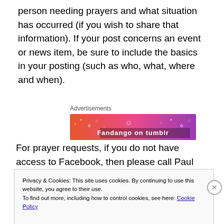person needing prayers and what situation has occurred (if you wish to share that information). If your post concerns an event or news item, be sure to include the basics in your posting (such as who, what, where and when).
[Figure (other): Advertisement banner with orange-to-purple gradient background showing 'Fandango on tumblr' text with decorative music and emoji icons]
For prayer requests, if you do not have access to Facebook, then please call Paul Bennetts or John Trinkl
Privacy & Cookies: This site uses cookies. By continuing to use this website, you agree to their use. To find out more, including how to control cookies, see here: Cookie Policy